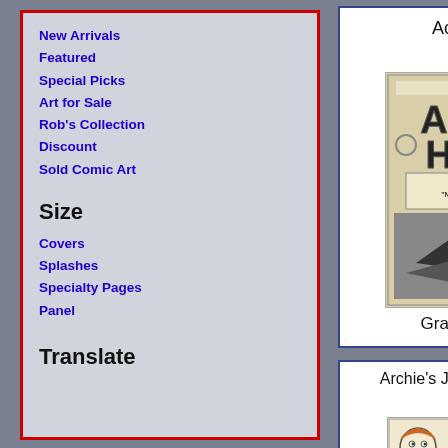New Arrivals
Featured
Special Picks
Art for Sale
Rob's Collection
Discount
Sold Comic Art
Size
Covers
Splashes
Specialty Pages
Panel
Translate
Aces High #1
[Figure (photo): Comic book cover artwork for Aces High #1, pencil/ink artwork showing aircraft and the title ACES HIGH]
Grade: VFNM
Archie's Joke Book Pg. 28 #41
[Figure (photo): Comic book page artwork for Archie's Joke Book, showing Archie character and Dilton Doiley's Art Corner text]